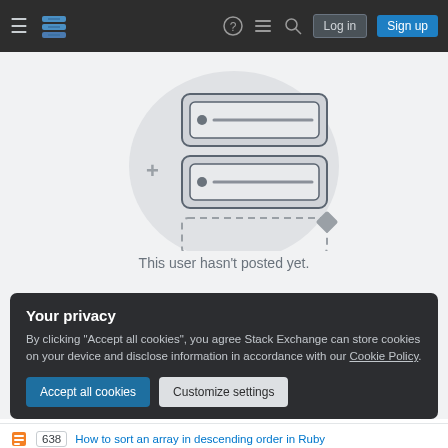Stack Exchange navigation bar with logo, icons, Log in, Sign up
[Figure (illustration): Stack Exchange empty state illustration showing two server/database panels stacked with a plus sign and a diamond icon, with a dashed empty panel below, on a light grey circular background]
This user hasn't posted yet.
Your privacy
By clicking "Accept all cookies", you agree Stack Exchange can store cookies on your device and disclose information in accordance with our Cookie Policy.
Accept all cookies   Customize settings
638   How to sort an array in descending order in Ruby